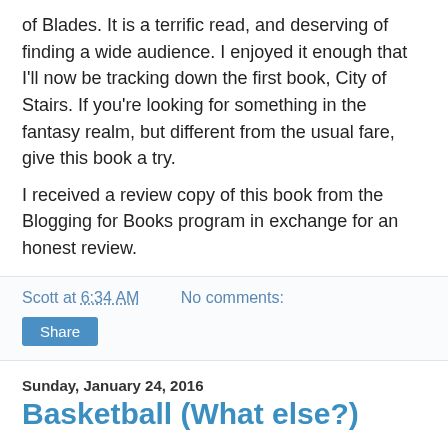of Blades. It is a terrific read, and deserving of finding a wide audience. I enjoyed it enough that I'll now be tracking down the first book, City of Stairs. If you're looking for something in the fantasy realm, but different from the usual fare, give this book a try.
I received a review copy of this book from the Blogging for Books program in exchange for an honest review.
Scott at 6:34 AM   No comments:
Share
Sunday, January 24, 2016
Basketball (What else?)
Lexi's team had two games this week. Unfortunately she was sick and missed the first one (they won). She played pretty well in the second game, as her team put a whoopin' on Shenandoah (always a good thing). Her defense was pretty good, and she is still building confidence on offense. She did